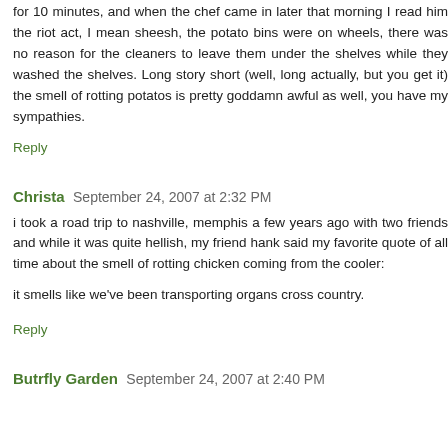for 10 minutes, and when the chef came in later that morning I read him the riot act, I mean sheesh, the potato bins were on wheels, there was no reason for the cleaners to leave them under the shelves while they washed the shelves. Long story short (well, long actually, but you get it) the smell of rotting potatos is pretty goddamn awful as well, you have my sympathies.
Reply
Christa September 24, 2007 at 2:32 PM
i took a road trip to nashville, memphis a few years ago with two friends and while it was quite hellish, my friend hank said my favorite quote of all time about the smell of rotting chicken coming from the cooler:
it smells like we've been transporting organs cross country.
Reply
Butrfly Garden September 24, 2007 at 2:40 PM